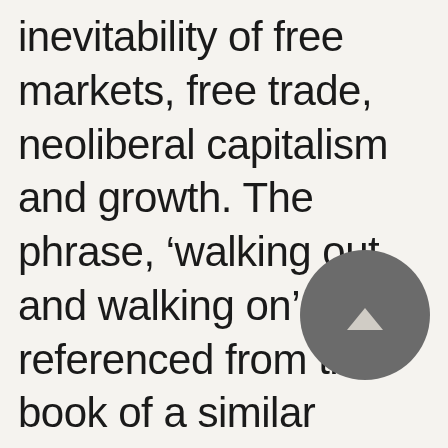inevitability of free markets, free trade, neoliberal capitalism and growth. The phrase, ‘walking out and walking on’, is referenced from the book of a similar name, ‘Walk Out Walk On: A